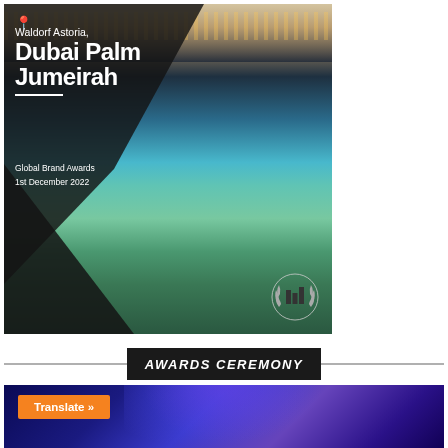[Figure (photo): Aerial/exterior photo of Waldorf Astoria Dubai Palm Jumeirah hotel showing the resort building at top, water/sea in middle, and pool area with palm trees at bottom. Dark diamond geometric overlay on the left portion. Location pin icon at top left. White text overlaid with venue name and event details.]
Waldorf Astoria, Dubai Palm Jumeirah
Global Brand Awards
1st December 2022
AWARDS CEREMONY
[Figure (photo): Photo of awards ceremony venue with blue/purple dramatic lighting]